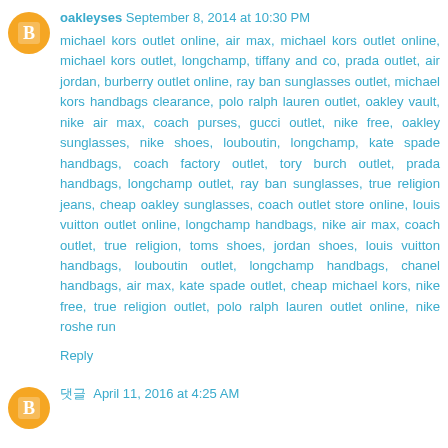oakleyses September 8, 2014 at 10:30 PM
michael kors outlet online, air max, michael kors outlet online, michael kors outlet, longchamp, tiffany and co, prada outlet, air jordan, burberry outlet online, ray ban sunglasses outlet, michael kors handbags clearance, polo ralph lauren outlet, oakley vault, nike air max, coach purses, gucci outlet, nike free, oakley sunglasses, nike shoes, louboutin, longchamp, kate spade handbags, coach factory outlet, tory burch outlet, prada handbags, longchamp outlet, ray ban sunglasses, true religion jeans, cheap oakley sunglasses, coach outlet store online, louis vuitton outlet online, longchamp handbags, nike air max, coach outlet, true religion, toms shoes, jordan shoes, louis vuitton handbags, louboutin outlet, longchamp handbags, chanel handbags, air max, kate spade outlet, cheap michael kors, nike free, true religion outlet, polo ralph lauren outlet online, nike roshe run
Reply
댓글 April 11, 2016 at 4:25 AM